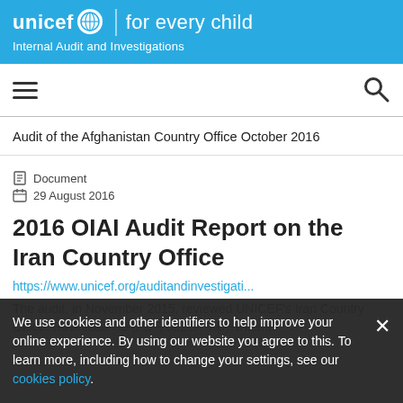unicef for every child | Internal Audit and Investigations
Audit of the Afghanistan Country Office October 2016
Document
29 August 2016
2016 OIAI Audit Report on the Iran Country Office
https://www.unicef.org/auditandinvestigati...
The audit, in November 2015, reviewed UNICEF's Iran Country Office. Download file (PDF, 822.37 KB). Internal
We use cookies and other identifiers to help improve your online experience. By using our website you agree to this. To learn more, including how to change your settings, see our cookies policy.